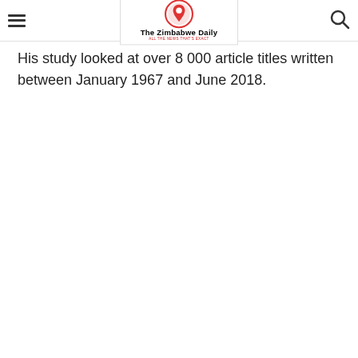The Zimbabwe Daily
His study looked at over 8 000 article titles written between January 1967 and June 2018.